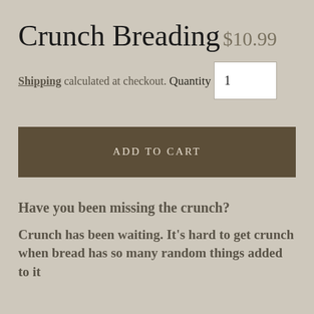Crunch Breading
$10.99
Shipping calculated at checkout.
Quantity
1
ADD TO CART
Have you been missing the crunch?
Crunch has been waiting. It's hard to get crunch when bread has so many random things added to it